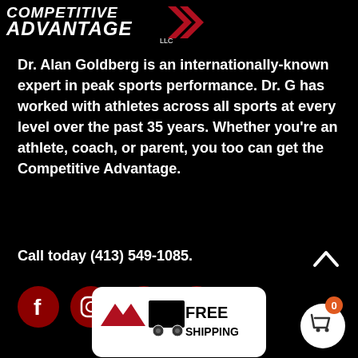[Figure (logo): Competitive Advantage LLC logo with white italic text and red chevron arrows on black background]
Dr. Alan Goldberg is an internationally-known expert in peak sports performance. Dr. G has worked with athletes across all sports at every level over the past 35 years. Whether you're an athlete, coach, or parent, you too can get the Competitive Advantage.
Call today (413) 549-1085.
[Figure (infographic): Social media icons: Facebook, Instagram, Twitter, YouTube — dark red circular buttons]
[Figure (logo): Free Shipping badge with truck icon in black and white rounded rectangle]
[Figure (infographic): Shopping cart button with orange badge showing 0]